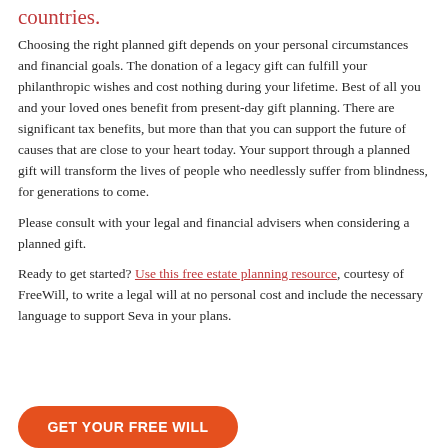countries.
Choosing the right planned gift depends on your personal circumstances and financial goals. The donation of a legacy gift can fulfill your philanthropic wishes and cost nothing during your lifetime. Best of all you and your loved ones benefit from present-day gift planning. There are significant tax benefits, but more than that you can support the future of causes that are close to your heart today. Your support through a planned gift will transform the lives of people who needlessly suffer from blindness, for generations to come.
Please consult with your legal and financial advisers when considering a planned gift.
Ready to get started? Use this free estate planning resource, courtesy of FreeWill, to write a legal will at no personal cost and include the necessary language to support Seva in your plans.
GET YOUR FREE WILL